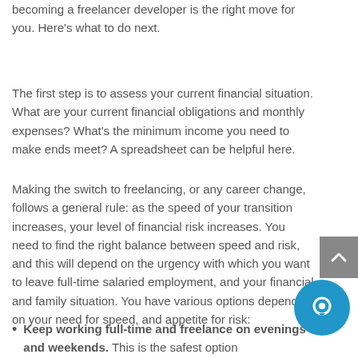becoming a freelancer developer is the right move for you. Here’s what to do next.
The first step is to assess your current financial situation. What are your current financial obligations and monthly expenses? What’s the minimum income you need to make ends meet? A spreadsheet can be helpful here.
Making the switch to freelancing, or any career change, follows a general rule: as the speed of your transition increases, your level of financial risk increases. You need to find the right balance between speed and risk, and this will depend on the urgency with which you want to leave full-time salaried employment, and your financial and family situation. You have various options depending on your need for speed, and appetite for risk:
Keep working full-time and freelance on evenings and weekends. This is the safest option